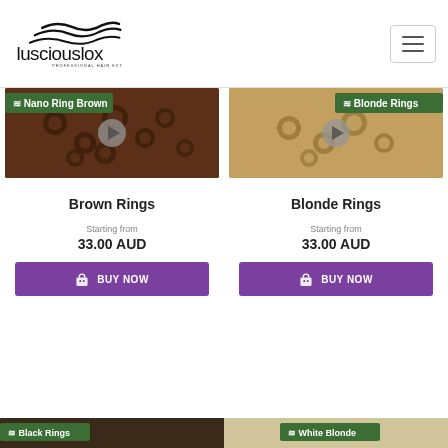[Figure (logo): Luscious Lox professional hair extensions logo with wavy hair lines above the text]
[Figure (screenshot): Hamburger/menu toggle button in top right corner]
[Figure (photo): Product image for Nano Ring Brown hair rings with green badge label and video play button]
[Figure (photo): Product image for Blonde Rings with green badge label and video play button]
Brown Rings
Starting from
33.00 AUD
BUY NOW
Blonde Rings
Starting from
33.00 AUD
BUY NOW
[Figure (photo): Partially visible product image for Black Rings at bottom left]
[Figure (photo): Partially visible product image for White Blonde rings at bottom right]